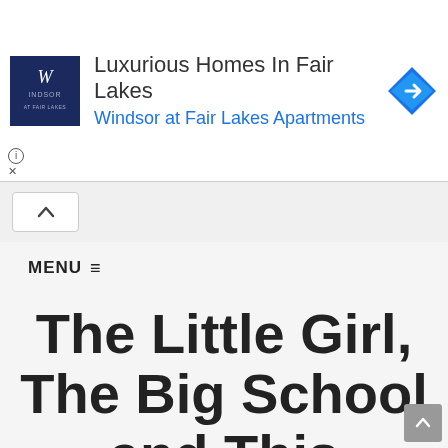[Figure (screenshot): Advertisement banner for Windsor at Fair Lakes Apartments with logo, headline text 'Luxurious Homes In Fair Lakes', and blue link text 'Windsor at Fair Lakes Apartments', with a blue diamond navigation icon on the right]
MENU ≡
The Little Girl, The Big School and This Millennial Mum